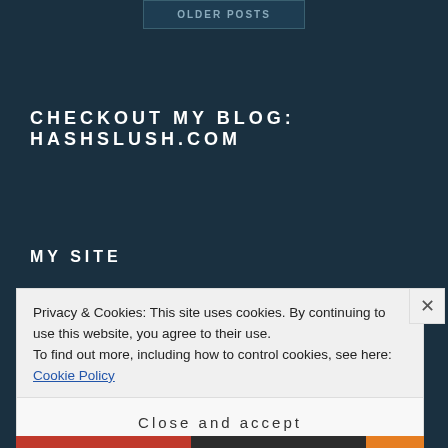OLDER POSTS
CHECKOUT MY BLOG: HASHSLUSH.COM
MY SITE
Privacy & Cookies: This site uses cookies. By continuing to use this website, you agree to their use.
To find out more, including how to control cookies, see here: Cookie Policy
Close and accept